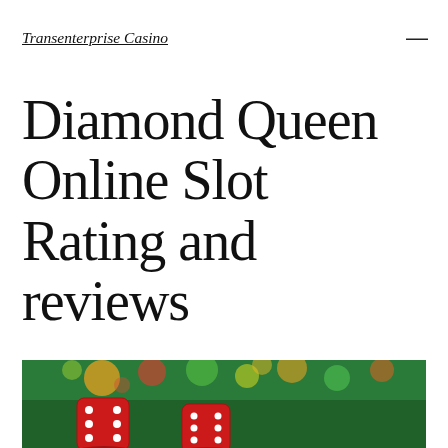Transenterprise Casino
Diamond Queen Online Slot Rating and reviews
[Figure (photo): Two red dice with white dots on a green casino felt surface, with colorful bokeh lights (red, orange, yellow, green) in the background.]